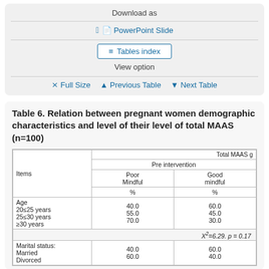[Figure (screenshot): Download options panel with PowerPoint Slide link, Tables index button, View option text, and navigation links: Full Size, Previous Table, Next Table]
Table 6. Relation between pregnant women demographic characteristics and level of their level of total MAAS (n=100)
| Items | Total MAAS g Pre intervention Poor Mindful % | Total MAAS g Pre intervention Good mindful % |
| --- | --- | --- |
| Age 20≤25 years 25≤30 years ≥30 years | 40.0 55.0 70.0 | 60.0 45.0 30.0 |
| X²=6.29. p = 0.17 |  |  |
| Marital status: Married Divorced | 40.0 60.0 | 60.0 40.0 |